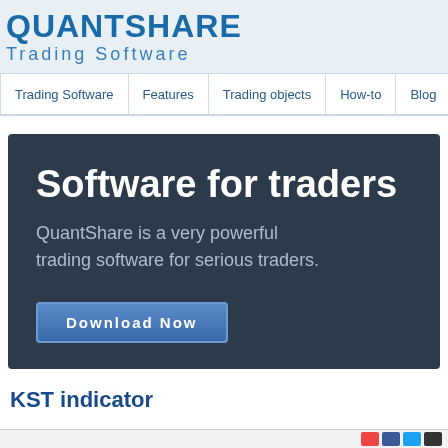QUANTSHARE Trading Software
Trading Software | Features | Trading objects | How-to | Blog | Forum | Par
[Figure (screenshot): Dark blue hero banner with text 'Software for traders' and subtitle 'QuantShare is a very powerful trading software for serious traders.' and a 'Download Now' button]
KST indicator